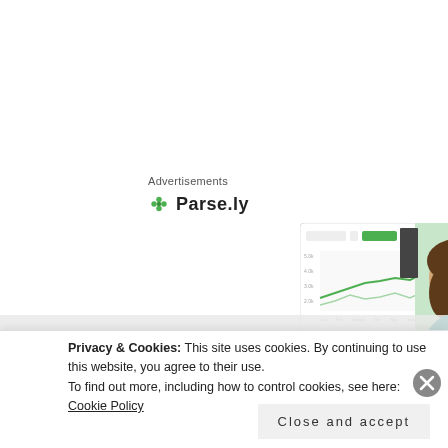Advertisements
[Figure (logo): Parse.ly logo with green leaf/flower icon and bold Parse.ly text]
[Figure (screenshot): Parse.ly dashboard analytics screenshot showing a line chart with green lines, overlaid with photo of a woman in a green sweater smiling]
Content
Privacy & Cookies: This site uses cookies. By continuing to use this website, you agree to their use.
To find out more, including how to control cookies, see here: Cookie Policy
Close and accept